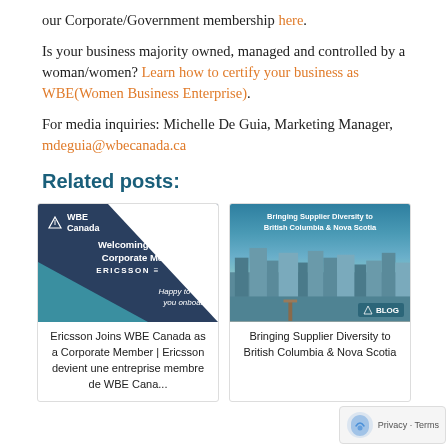our Corporate/Government membership here.
Is your business majority owned, managed and controlled by a woman/women? Learn how to certify your business as WBE(Women Business Enterprise).
For media inquiries: Michelle De Guia, Marketing Manager, mdeguia@wbecanada.ca
Related posts:
[Figure (illustration): WBE Canada card welcoming Ericsson as new corporate member]
[Figure (photo): City waterfront photo with blog overlay, titled Bringing Supplier Diversity to British Columbia & Nova Scotia]
Ericsson Joins WBE Canada as a Corporate Member | Ericsson devient une entreprise membre de WBE Cana...
Bringing Supplier Diversity to British Columbia & Nova Scotia